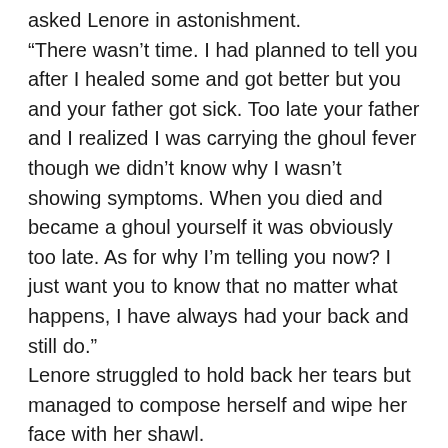asked Lenore in astonishment. “There wasn’t time. I had planned to tell you after I healed some and got better but you and your father got sick. Too late your father and I realized I was carrying the ghoul fever though we didn’t know why I wasn’t showing symptoms. When you died and became a ghoul yourself it was obviously too late. As for why I’m telling you now? I just want you to know that no matter what happens, I have always had your back and still do.” Lenore struggled to hold back her tears but managed to compose herself and wipe her face with her shawl. “Edward, I’m so very sorry for what I put you though. I wish I could have saw then the person I see now, things could have been so much different.” Edward stopped her before she could continue, “I wasn’t the same person then. I was in love with the idea of you